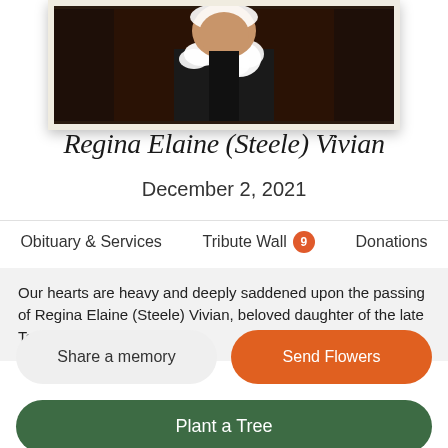[Figure (photo): Portrait photograph of Regina Elaine (Steele) Vivian wearing a black outfit with white ruffled collar/corsage, against a dark background, in a cream-colored frame]
Regina Elaine (Steele) Vivian
December 2, 2021
Obituary & Services   Tribute Wall 9   Donations
Our hearts are heavy and deeply saddened upon the passing of Regina Elaine (Steele) Vivian, beloved daughter of the late Tommy...
Share a memory
Send Flowers
Plant a Tree